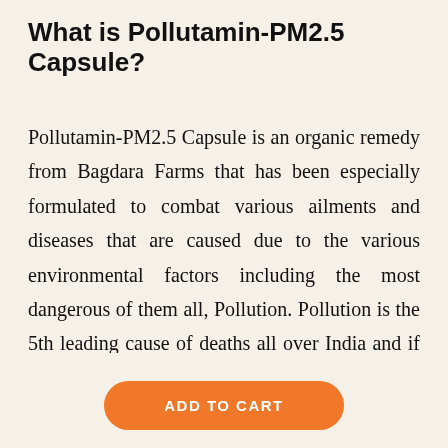What is Pollutamin-PM2.5 Capsule?
Pollutamin-PM2.5 Capsule is an organic remedy from Bagdara Farms that has been especially formulated to combat various ailments and diseases that are caused due to the various environmental factors including the most dangerous of them all, Pollution. Pollution is the 5th leading cause of deaths all over India and if this is not controlled today, then we are sure to
ADD TO CART